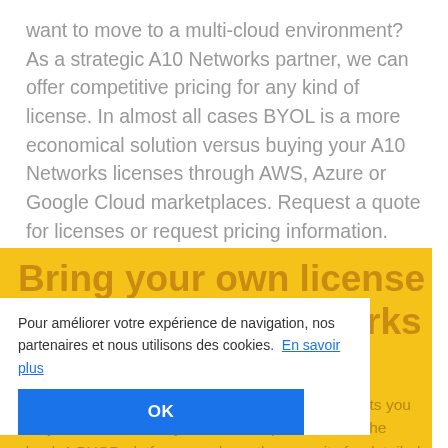want to move to a multi-cloud environment? As a strategic A10 Networks partner, we can offer competitive pricing for any kind of license. In almost all cases BYOL is a more economical solution versus buying your A10 Networks licenses through AWS, Azure or Google Cloud marketplaces. Request a quote for licenses or request pricing information.
Bring your own license (BYOL) - A10 Networks
Pour améliorer votre expérience de navigation, nos partenaires et nous utilisons des cookies.  En savoir plus
OK
Bring Your Own License is a licensing model that lets you use your license flexibly, whether on-premise or in the cloud. A BYOD platform may have the capacity for detailed usage reporting on matters like validity and